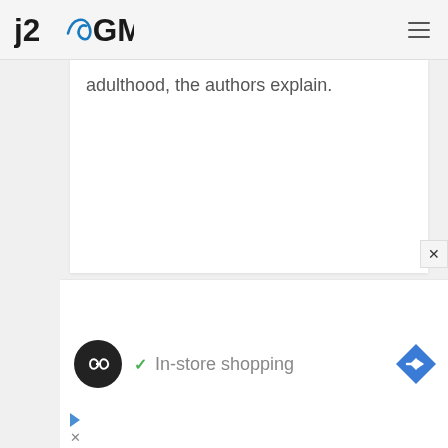j2GMN
adulthood, the authors explain.
[Figure (screenshot): Advertisement banner with circular dark logo with infinity-like symbol, green checkmark, text 'In-store shopping', and blue diamond direction arrow icon. AdChoices play and close icons at bottom left.]